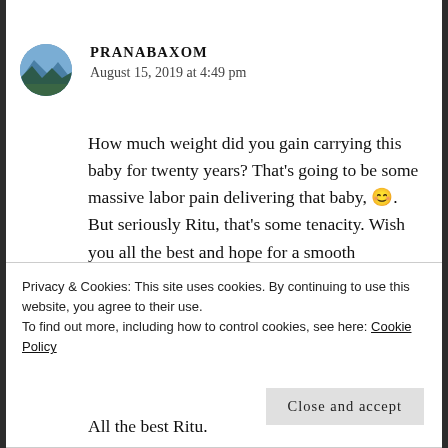[Figure (illustration): Circular avatar image of a mountain/landscape scene with blue sky]
PRANABAXOM
August 15, 2019 at 4:49 pm
How much weight did you gain carrying this baby for twenty years? That's going to be some massive labor pain delivering that baby, 😊. But seriously Ritu, that's some tenacity. Wish you all the best and hope for a smooth
Privacy & Cookies: This site uses cookies. By continuing to use this website, you agree to their use.
To find out more, including how to control cookies, see here: Cookie Policy
Close and accept
All the best Ritu.